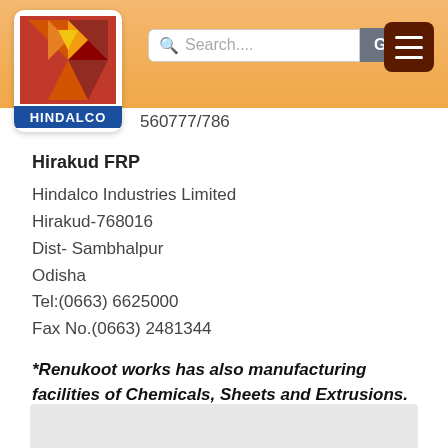[Figure (logo): Aditya Birla Hindalco logo with geometric red/orange/yellow design and blue HINDALCO label]
560777/786
Hirakud FRP
Hindalco Industries Limited
Hirakud-768016
Dist- Sambhalpur
Odisha
Tel:(0663) 6625000
Fax No.(0663) 2481344
*Renukoot works has also manufacturing facilities of Chemicals, Sheets and Extrusions.